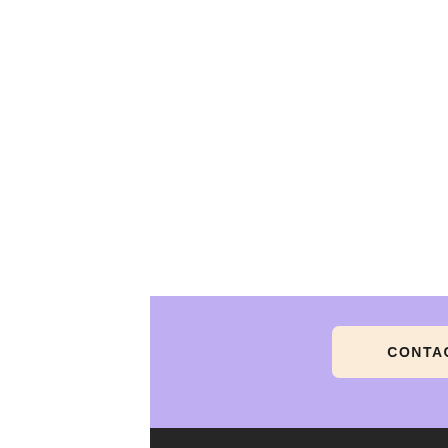[Figure (screenshot): Purple banner section of a website footer with a 'CONTACT ME' button on a cream/peach background, followed by a dark black footer with #sarahlouwho hashtag and copyright text.]
CONTACT ME
#sarahlouwho
© 2022 by SarahLouWho